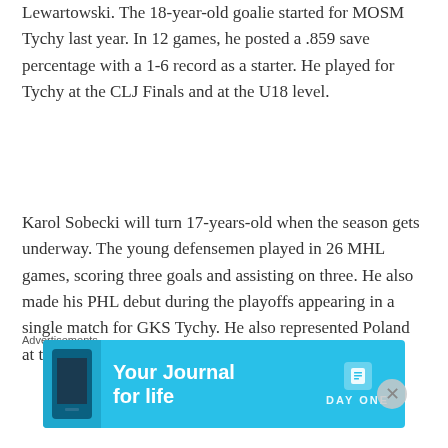Lewartowski. The 18-year-old goalie started for MOSM Tychy last year. In 12 games, he posted a .859 save percentage with a 1-6 record as a starter. He played for Tychy at the CLJ Finals and at the U18 level.
Karol Sobecki will turn 17-years-old when the season gets underway. The young defensemen played in 26 MHL games, scoring three goals and assisting on three. He also made his PHL debut during the playoffs appearing in a single match for GKS Tychy. He also represented Poland at the Division 1 Group B U18 World...
Advertisements
[Figure (other): Advertisement banner for 'Your Journal for life' by DAY ONE app, showing a smartphone with a cyan/blue background]